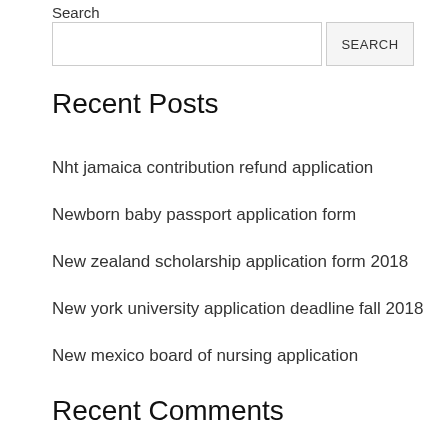Search
SEARCH (search bar with button)
Recent Posts
Nht jamaica contribution refund application
Newborn baby passport application form
New zealand scholarship application form 2018
New york university application deadline fall 2018
New mexico board of nursing application
Recent Comments
Destiny on Online application for senior citizen